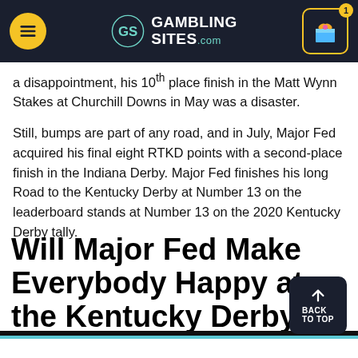Gambling Sites .com
a disappointment, his 10th place finish in the Matt Wynn Stakes at Churchill Downs in May was a disaster.
Still, bumps are part of any road, and in July, Major Fed acquired his final eight RTKD points with a second-place finish in the Indiana Derby. Major Fed finishes his long Road to the Kentucky Derby at Number 13 on the leaderboard stands at Number 13 on the 2020 Kentucky Derby tally.
Will Major Fed Make Everybody Happy at the Kentucky Derby?